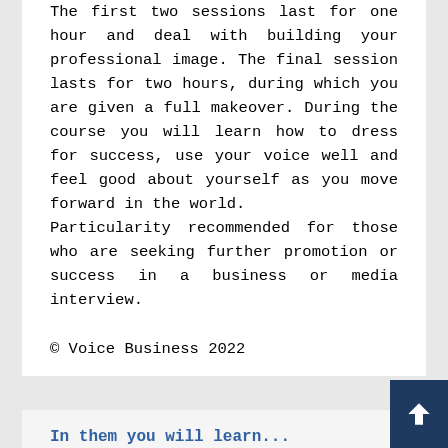The first two sessions last for one hour and deal with building your professional image. The final session lasts for two hours, during which you are given a full makeover. During the course you will learn how to dress for success, use your voice well and feel good about yourself as you move forward in the world. Particularity recommended for those who are seeking further promotion or success in a business or media interview.
© Voice Business 2022
In them you will learn...
How to improve your professional image